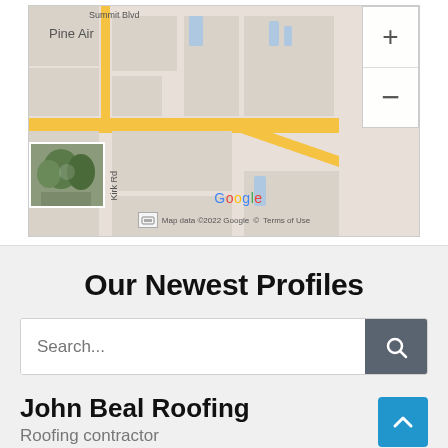[Figure (map): Google Maps screenshot showing an area with Pine Air label, Summit Blvd street, Kirk Rd, zoom controls (+/-), a street view thumbnail, and Google branding with 'Map data ©2022 Google © Terms of Use']
Our Newest Profiles
Search...
John Beal Roofing
Roofing contractor